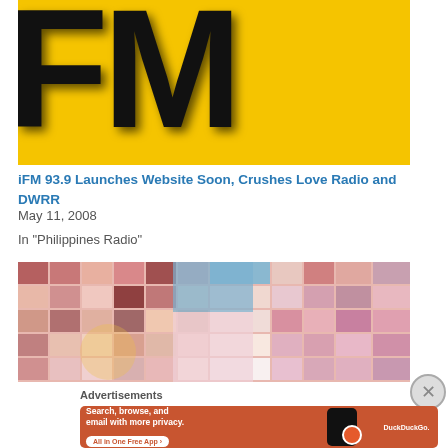[Figure (logo): iFM 93.9 radio station logo with black text 'FM 93' on yellow background, cropped]
iFM 93.9 Launches Website Soon, Crushes Love Radio and DWRR
May 11, 2008
In "Philippines Radio"
[Figure (photo): Collage of skin tone color swatches with a person in blue shirt and pink apron overlaid]
Advertisements
[Figure (screenshot): DuckDuckGo advertisement banner: Search, browse, and email with more privacy. All in One Free App]